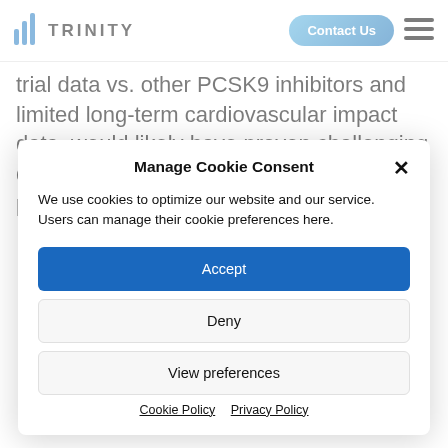TRINITY | Contact Us
trial data vs. other PCSK9 inhibitors and limited long-term cardiovascular impact data, would likely have proven challenging during the NICE appraisal process, potentially leading to a direct
Manage Cookie Consent
We use cookies to optimize our website and our service. Users can manage their cookie preferences here.
Accept
Deny
View preferences
Cookie Policy  Privacy Policy